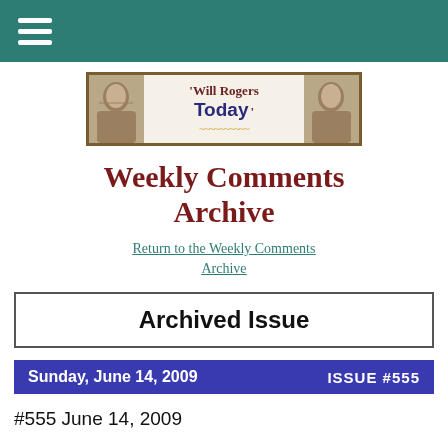Navigation menu (hamburger icon) on teal/dark green header bar
[Figure (logo): 'Will Rogers Today' banner with two sepia photos of Will Rogers on left and right, text in center reading 'Will Rogers Today' with decorative squiggle underline]
Weekly Comments Archive
Return to the Weekly Comments Archive
Archived Issue
| Sunday, June 14, 2009 | ISSUE #555 |
| --- | --- |
#555 June 14, 2009